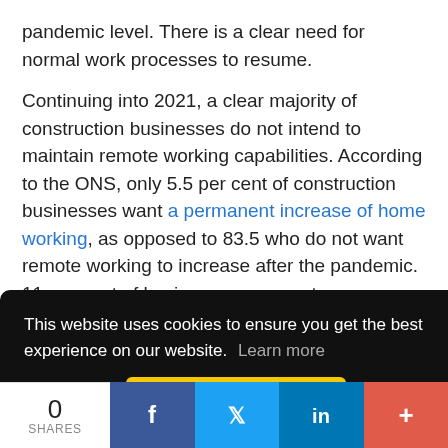pandemic level. There is a clear need for normal work processes to resume.
Continuing into 2021, a clear majority of construction businesses do not intend to maintain remote working capabilities. According to the ONS, only 5.5 per cent of construction businesses want a permanent increase of home working, as opposed to 83.5 who do not want remote working to increase after the pandemic. 11 per cent of businesses were not sure.
This website uses cookies to ensure you get the best experience on our website. Learn more
Got it!
0 SHARES  f  [twitter]  in  +